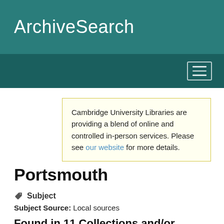ArchiveSearch
Cambridge University Libraries are providing a blend of online and controlled in-person services. Please see our website for more details.
Portsmouth
Subject
Subject Source: Local sources
Found in 11 Collections and/or Records: